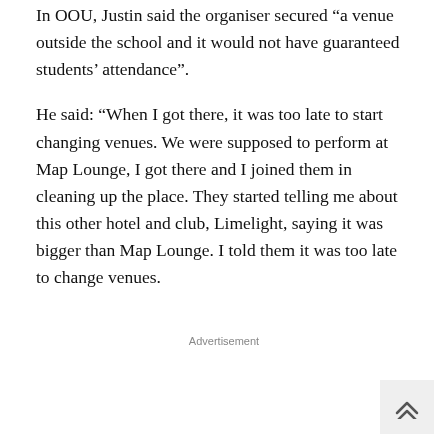In OOU, Justin said the organiser secured “a venue outside the school and it would not have guaranteed students’ attendance”.
He said: “When I got there, it was too late to start changing venues. We were supposed to perform at Map Lounge, I got there and I joined them in cleaning up the place. They started telling me about this other hotel and club, Limelight, saying it was bigger than Map Lounge. I told them it was too late to change venues.
Advertisement